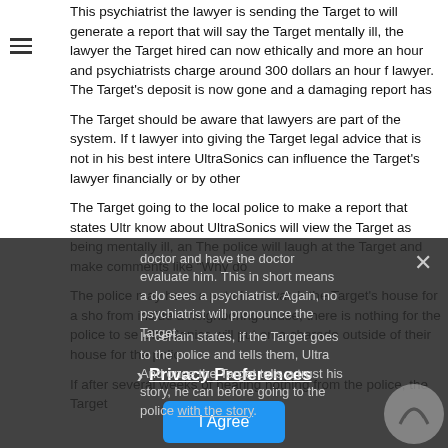This psychiatrist the lawyer is sending the Target to will generate a report that will say the Target mentally ill, the lawyer the Target hired can now ethically and... more an hour and psychiatrists charge around 300 dollars an hour for... lawyer. The Target's deposit is now gone and a damaging report has...
The Target should be aware that lawyers are part of the system. If the... lawyer into giving the Target legal advice that is not in his best intere... UltraSonics can influence the Target's lawyer financially or by other...
The Target going to the local police to make a report that states Ultr... know about UltraSonics will view the Target as being mentally ill, an... The police will laugh at the Target and make comments like "Why do...
The police may have a patrol car watch the Target's house for a sho... from inside a neighboring house, there is nothing for the police to se... UltraSonics will put on a charade outside of their house for the polic...
If after several weeks of hearing nothing from the police, the Target... doctor and have the doctor evaluate him. This in short means a do... sees a psychiatrist. Again, no psychiatrist will pronounce the Target...
In certain states, if the Target goes to the police and tells them, Ultra... And once the Target tells a... trust his story, he can... before going to the police with the story.
[Figure (other): Privacy Preferences overlay with close button (×), Privacy Preferences link with chevron, and I Agree button. Semi-transparent dark background over page content. Logo watermark in bottom right corner.]